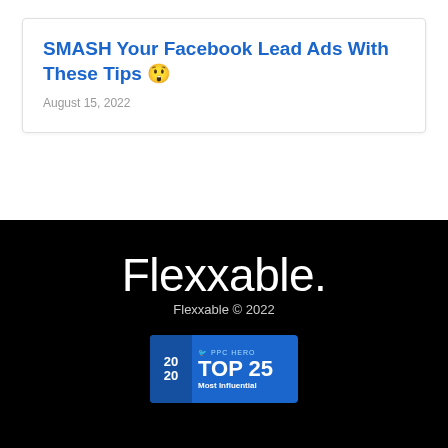SMASH Your Facebook Lead Ads With These Tips 😲
August 15, 2022
[Figure (logo): Flexxable logo in white text on black background]
Flexxable © 2022
[Figure (infographic): PPC Hero TOP 25 Most Influential badge on blue background, showing year 2020]